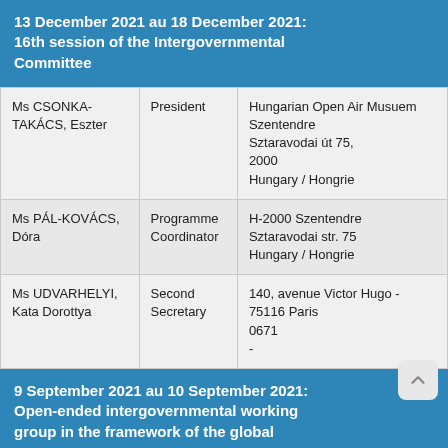13 December 2021 au 18 December 2021: 16th session of the Intergovernmental Committee
| Name | Role | Address |
| --- | --- | --- |
| Ms CSONKA-TAKÁCS, Eszter | President | Hungarian Open Air Musuem Szentendre Sztaravodai út 75, 2000 Hungary / Hongrie |
| Ms PÁL-KOVÁCS, Dóra | Programme Coordinator | H-2000 Szentendre Sztaravodai str. 75 Hungary / Hongrie |
| Ms UDVARHELYI, Kata Dorottya | Second Secretary | 140, avenue Victor Hugo - 75116 Paris 0671 - |
9 September 2021 au 10 September 2021: Open-ended intergovernmental working group in the framework of the global